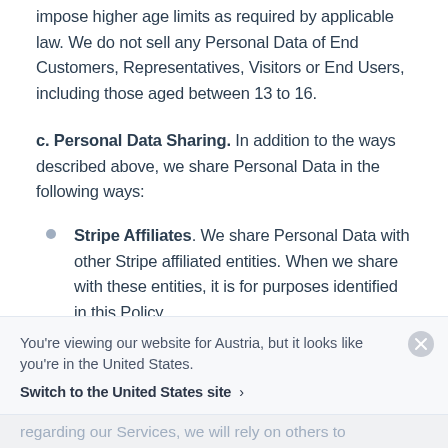impose higher age limits as required by applicable law. We do not sell any Personal Data of End Customers, Representatives, Visitors or End Users, including those aged between 13 to 16.
c. Personal Data Sharing. In addition to the ways described above, we share Personal Data in the following ways:
Stripe Affiliates. We share Personal Data with other Stripe affiliated entities. When we share with these entities, it is for purposes identified in this Policy.
You're viewing our website for Austria, but it looks like you're in the United States.
Switch to the United States site ›
regarding our Services, we will rely on others to